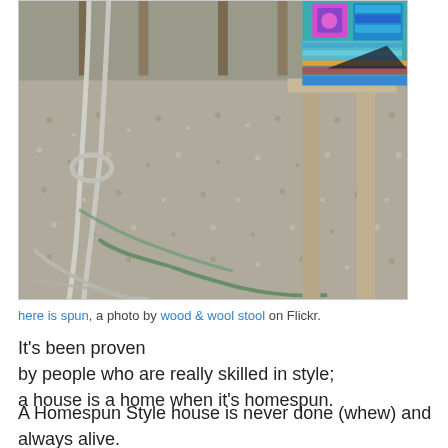[Figure (photo): Outdoor garden scene showing gravel ground with white metal furniture legs and wooden chair/bench legs. Colorful crocheted blanket visible in upper right corner. Natural daylight scene.]
here is spun, a photo by wood & wool stool on Flickr.
It's been proven
by people who are really skilled in style;
a house is a home when it's homespun.
A Homespun Style house is never done (whew) and always alive.